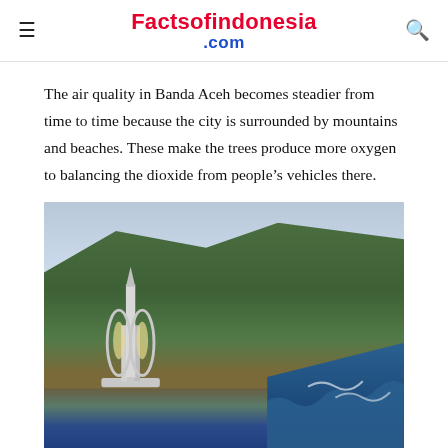Factsofindonesia.com
The air quality in Banda Aceh becomes steadier from time to time because the city is surrounded by mountains and beaches. These make the trees produce more oxygen to balancing the dioxide from people’s vehicles there.
[Figure (photo): Aerial photo of a monument on a coastal hilltop with forested mountains and ocean waves visible, in Banda Aceh area]